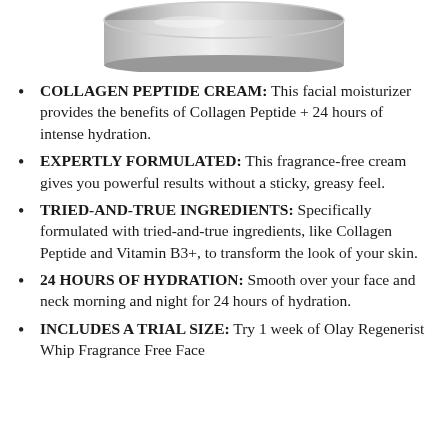[Figure (photo): Bottom portion of a silver/metallic cream jar product photo, cropped at the top of the page]
COLLAGEN PEPTIDE CREAM: This facial moisturizer provides the benefits of Collagen Peptide + 24 hours of intense hydration.
EXPERTLY FORMULATED: This fragrance-free cream gives you powerful results without a sticky, greasy feel.
TRIED-AND-TRUE INGREDIENTS: Specifically formulated with tried-and-true ingredients, like Collagen Peptide and Vitamin B3+, to transform the look of your skin.
24 HOURS OF HYDRATION: Smooth over your face and neck morning and night for 24 hours of hydration.
INCLUDES A TRIAL SIZE: Try 1 week of Olay Regenerist Whip Fragrance Free Face